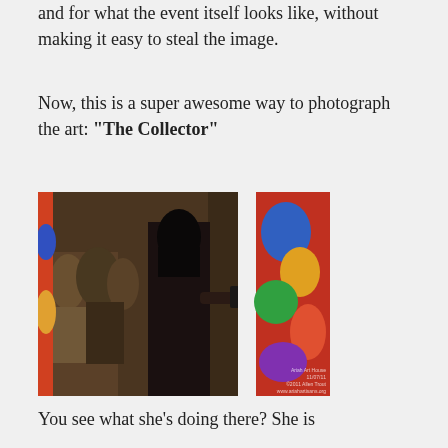and for what the event itself looks like, without making it easy to steal the image.
Now, this is a super awesome way to photograph the art: “The Collector”
[Figure (photo): A woman with dark hair wearing a dark shirt photographs artist info on a label next to colorful artwork on a gallery wall. Other gallery visitors are visible in the background. Watermark text in bottom right corner.]
You see what she’s doing there? She is photographing the artist info for the piece of art, so she can look it up later. That is an AWESOME thing to do!
So, to keep in context with the subject of this